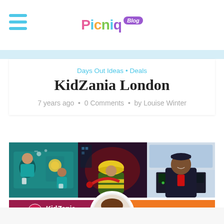Picniq Blog
Days Out Ideas • Deals
KidZania London
7 years ago • 0 Comments • by Louise Winter
[Figure (photo): Three photos showing children role-playing at KidZania London: left photo shows children in medical/surgical scrubs in a medical setting; center photo shows a child in a yellow hard hat and hi-vis firefighter jacket; right photo shows a smiling child in a pilot or airline uniform at a cockpit console.]
[Figure (illustration): Bottom banner showing KidZania London logo on dark red background on left, purple section in middle, and orange section on right with text 'ULTS GO FREE!' overlaid on illustration of a cartoon avatar of a woman with brown hair in a circle.]